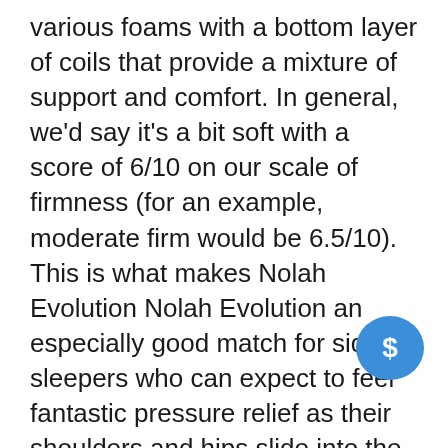various foams with a bottom layer of coils that provide a mixture of support and comfort. In general, we'd say it's a bit soft with a score of 6/10 on our scale of firmness (for an example, moderate firm would be 6.5/10). This is what makes Nolah Evolution Nolah Evolution an especially good match for side sleepers who can expect to feel fantastic pressure relief as their shoulders and hips slide into the cushion of comfort.
It's worth pointing out that this comfort section is made of not one, but two layers of foam: 2inches of ArcticTex fibers, and an airfoam ice stretch. Both of these mate are specifically designed to keep sleep a comfortable temperature, with the latter being a graphite infused version that is a
[Figure (other): A circular chat bubble icon with a dollar sign in the center, colored blue/teal, positioned in the lower right area of the page.]